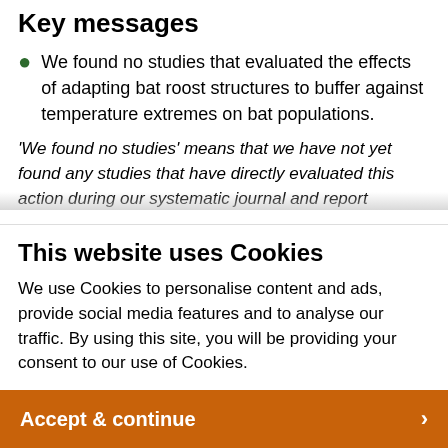Key messages
We found no studies that evaluated the effects of adapting bat roost structures to buffer against temperature extremes on bat populations.
'We found no studies' means that we have not yet found any studies that have directly evaluated this action during our systematic journal and report searches. Therefore we have been unable to assess whether or not the action is effective
This website uses Cookies
We use Cookies to personalise content and ads, provide social media features and to analyse our traffic. By using this site, you will be providing your consent to our use of Cookies.
Accept & continue